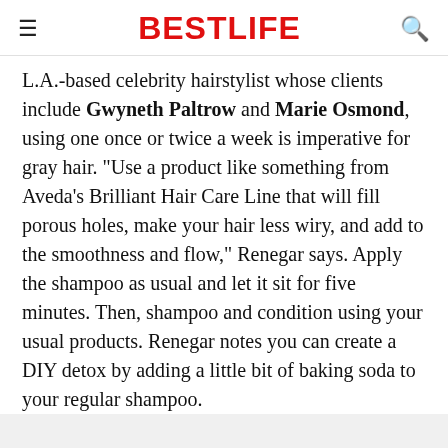BESTLIFE
L.A.-based celebrity hairstylist whose clients include Gwyneth Paltrow and Marie Osmond, using one once or twice a week is imperative for gray hair. "Use a product like something from Aveda's Brilliant Hair Care Line that will fill porous holes, make your hair less wiry, and add to the smoothness and flow," Renegar says. Apply the shampoo as usual and let it sit for five minutes. Then, shampoo and condition using your usual products. Renegar notes you can create a DIY detox by adding a little bit of baking soda to your regular shampoo.
You style too often.